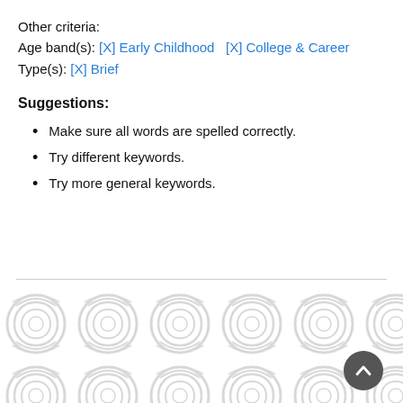Other criteria:
Age band(s): [X] Early Childhood   [X] College & Career
Type(s): [X] Brief
Suggestions:
Make sure all words are spelled correctly.
Try different keywords.
Try more general keywords.
[Figure (illustration): Decorative repeating hexagonal/circular pattern in light gray at the bottom of the page, with a dark gray circular scroll-to-top button in the lower right corner.]